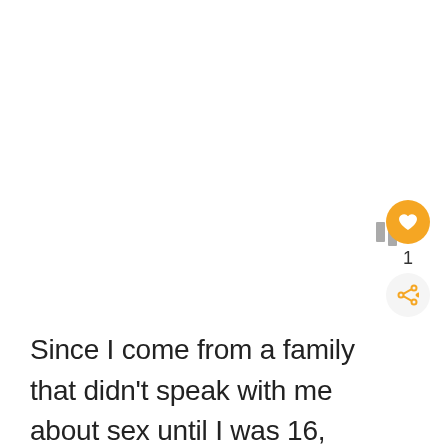[Figure (logo): Three vertical bar logo marks in gray with a small superscript circle, resembling a Medium or similar platform logo]
Since I come from a family that didn't speak with me about sex until I was 16, and about menstruation until I actually got it (16 again), I was torn during this session of mammary inquisition. I had my daughter who has been taught to learn all she can and be as curious as possible and my mother who, well, wasn't taught that. I wanted to intervene,
[Figure (infographic): Orange heart button with count of 1, and a share icon button below it on the right side of the screen]